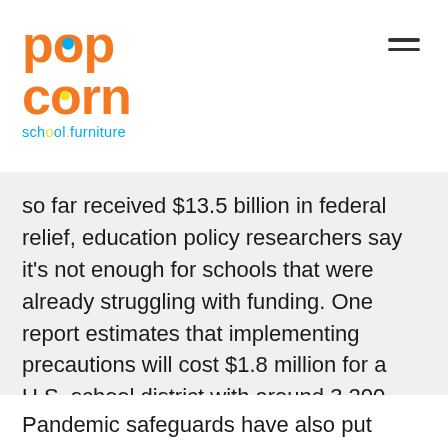[Figure (logo): Popcorn school.furniture logo with orange lettering, blue and yellow circle accents, and blue tagline text]
so far received $13.5 billion in federal relief, education policy researchers say it’s not enough for schools that were already struggling with funding. One report estimates that implementing precautions will cost $1.8 million for a U.S. school district with around 3,200 students. For example, reopening all of Maine’s public schools will cost an estimated $328 million.
Pandemic safeguards have also put special burdens on educators. Restrictions have made